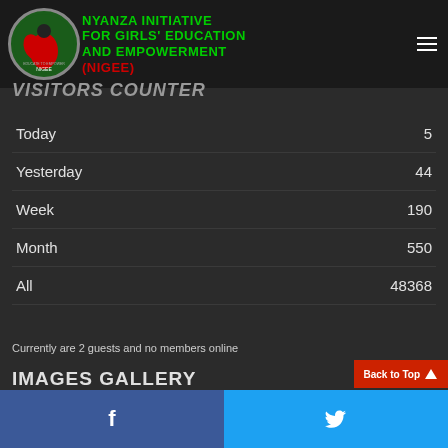NYANZA INITIATIVE FOR GIRLS' EDUCATION AND EMPOWERMENT (NIGEE)
VISITORS COUNTER
|  |  |
| --- | --- |
| Today | 5 |
| Yesterday | 44 |
| Week | 190 |
| Month | 550 |
| All | 48368 |
Currently are 2 guests and no members online
IMAGES GALLERY
[Figure (photo): Four thumbnail photos of program activities]
Facebook | Twitter | Back to Top